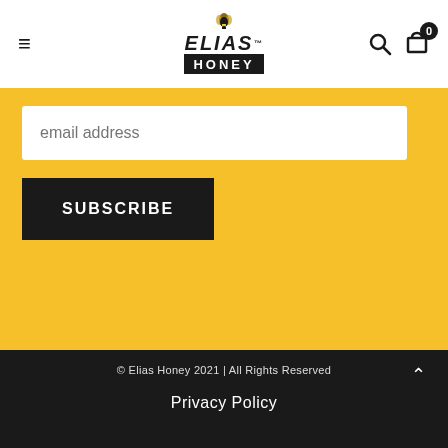[Figure (logo): Elias Honey logo with bee icon above ELIAS text and HONEY in black bar]
email address
SUBSCRIBE
© Elias Honey 2021 | All Rights Reserved
Privacy Policy